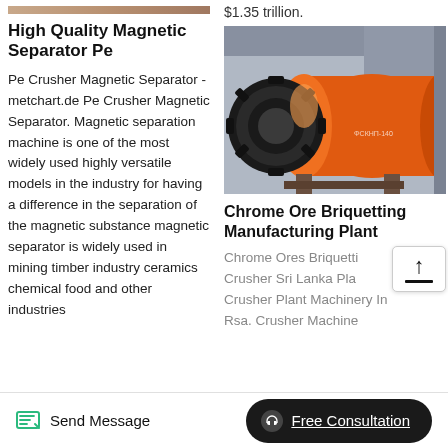[Figure (photo): Partial view of industrial equipment at top of left column]
High Quality Magnetic Separator Pe
Pe Crusher Magnetic Separator - metchart.de Pe Crusher Magnetic Separator. Magnetic separation machine is one of the most widely used highly versatile models in the industry for having a difference in the separation of the magnetic substance magnetic separator is widely used in mining timber industry ceramics chemical food and other industries
$1.35 trillion.
[Figure (photo): Large orange industrial ball mill / grinding machine in a factory setting]
Chrome Ore Briquetting Manufacturing Plant
Chrome Ores Briquetting Crusher Sri Lanka Plant Crusher Plant Machinery In Rsa. Crusher Machine
Send Message   Free Consultation